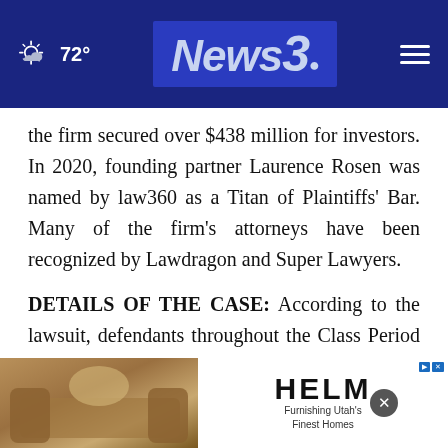72° | News3
the firm secured over $438 million for investors. In 2020, founding partner Laurence Rosen was named by law360 as a Titan of Plaintiffs' Bar. Many of the firm's attorneys have been recognized by Lawdragon and Super Lawyers.
DETAILS OF THE CASE: According to the lawsuit, defendants throughout the Class Period made false and/or misleading statements and/or failed to disclose that: (1) IonQ had not yet d[eveloped a commercially viable quantum comp]uter;